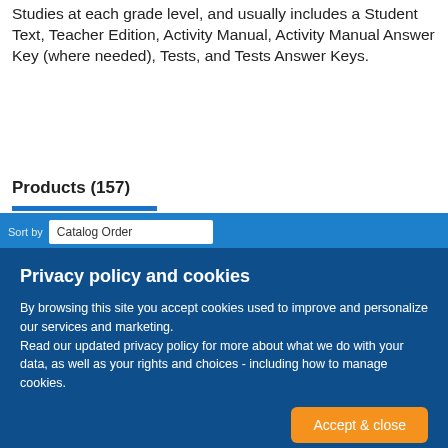Studies at each grade level, and usually includes a Student Text, Teacher Edition, Activity Manual, Activity Manual Answer Key (where needed), Tests, and Tests Answer Keys.
Products (157)
[Figure (screenshot): Blue navigation bar with sort label and Catalog Order dropdown selector]
[Figure (screenshot): Dark blue cookie consent overlay with title 'Privacy policy and cookies', explanatory text, and an orange 'Accept & close' button]